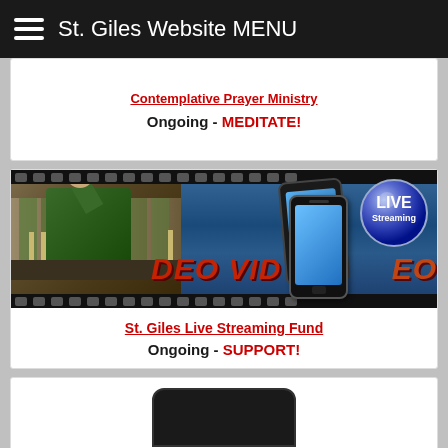St. Giles Website MENU
Contemplative Prayer Ministry
Ongoing - MEDITATE!
[Figure (photo): Live streaming promotional image showing a priest at the altar with a mobile phone graphic and a LIVE Streaming badge, with VIDEO text overlay on a film strip background]
St. Giles Live Streaming Fund
Ongoing - SUPPORT!
[Figure (photo): Partial view of a mobile device at the bottom of the page]